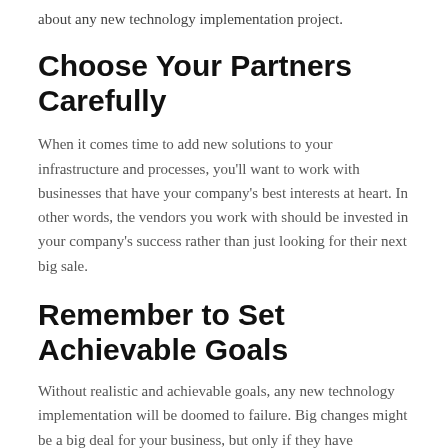about any new technology implementation project.
Choose Your Partners Carefully
When it comes time to add new solutions to your infrastructure and processes, you'll want to work with businesses that have your company's best interests at heart. In other words, the vendors you work with should be invested in your company's success rather than just looking for their next big sale.
Remember to Set Achievable Goals
Without realistic and achievable goals, any new technology implementation will be doomed to failure. Big changes might be a big deal for your business, but only if they have